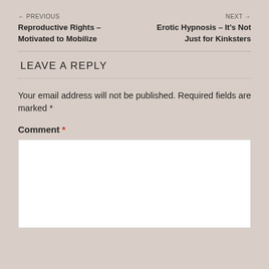← PREVIOUS
Reproductive Rights – Motivated to Mobilize
NEXT →
Erotic Hypnosis – It's Not Just for Kinksters
LEAVE A REPLY
Your email address will not be published. Required fields are marked *
Comment *